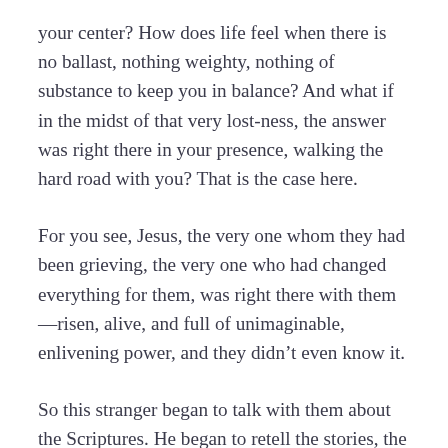your center? How does life feel when there is no ballast, nothing weighty, nothing of substance to keep you in balance? And what if in the midst of that very lost-ness, the answer was right there in your presence, walking the hard road with you? That is the case here.
For you see, Jesus, the very one whom they had been grieving, the very one who had changed everything for them, was right there with them—risen, alive, and full of unimaginable, enlivening power, and they didn't even know it.
So this stranger began to talk with them about the Scriptures. He began to retell the stories, the stories